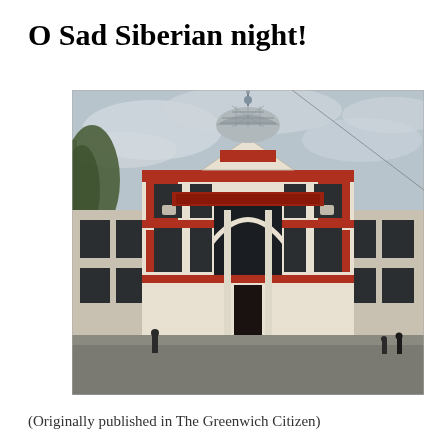O Sad Siberian night!
[Figure (photo): Photograph of a two-storey Russian/Siberian building with red brick and white stucco facade, ornate classical architectural details, arched central entrance, decorative pediment with a dome and spire on top, taken from street level on a cloudy day.]
(Originally published in The Greenwich Citizen)